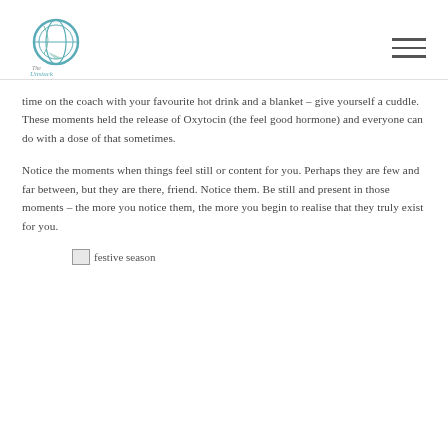The Unstuck Initiative logo and navigation
time on the coach with your favourite hot drink and a blanket – give yourself a cuddle. These moments held the release of Oxytocin (the feel good hormone) and everyone can do with a dose of that sometimes.
Notice the moments when things feel still or content for you. Perhaps they are few and far between, but they are there, friend. Notice them. Be still and present in those moments – the more you notice them, the more you begin to realise that they truly exist for you.
[Figure (photo): festive season image placeholder]